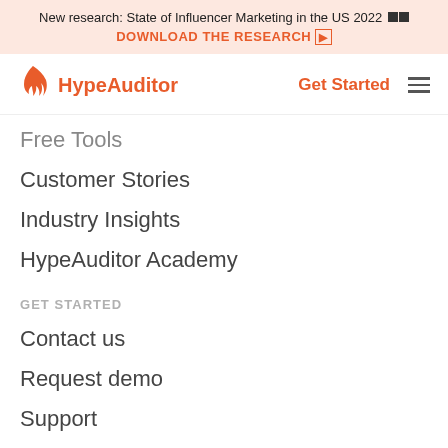New research: State of Influencer Marketing in the US 2022 🔲 DOWNLOAD THE RESEARCH
[Figure (logo): HypeAuditor flame logo and wordmark]
Free Tools
Customer Stories
Industry Insights
HypeAuditor Academy
GET STARTED
Contact us
Request demo
Support